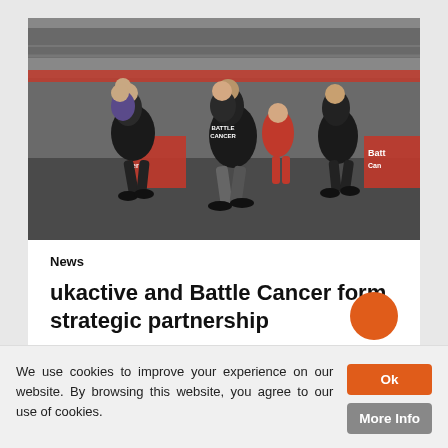[Figure (photo): Group of athletes carrying each other piggyback style running across a gym floor during a fitness charity event. Red 'Battle Cancer' banners visible in the background. Large crowd watching from above.]
News
ukactive and Battle Cancer form strategic partnership
We use cookies to improve your experience on our website. By browsing this website, you agree to our use of cookies.